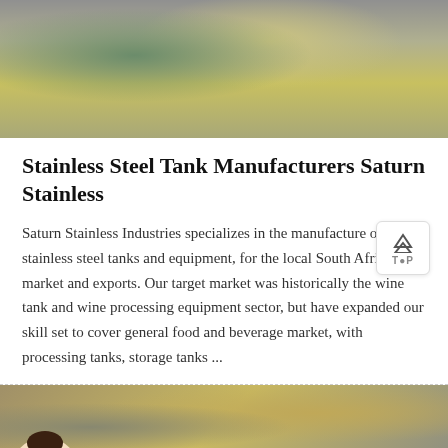[Figure (photo): Industrial photo showing a worker in hard hat near large machinery and equipment, viewed from above]
Stainless Steel Tank Manufacturers Saturn Stainless
Saturn Stainless Industries specializes in the manufacture of stainless steel tanks and equipment, for the local South African market and exports. Our target market was historically the wine tank and wine processing equipment sector, but have expanded our skill set to cover general food and beverage market, with processing tanks, storage tanks ...
[Figure (photo): Aerial/landscape photo showing a rocky quarry or mining site]
[Figure (screenshot): Orange chat bar with Message button on left and Online Chat button with headset icon on right, and customer service agent image on bottom left]